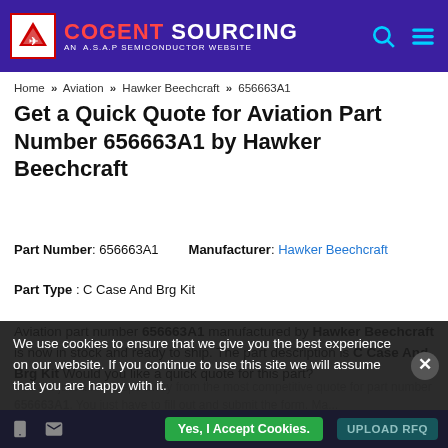COGENT SOURCING — AN A.S.A.P SEMICONDUCTOR WEBSITE
Home >> Aviation >> Hawker Beechcraft >> 656663A1
Get a Quick Quote for Aviation Part Number 656663A1 by Hawker Beechcraft
Part Number: 656663A1   Manufacturer: Hawker Beechcraft
Part Type : C Case And Brg Kit
Aviation part number 656663A1 manufactured by Hawker Beechcraft is now in stock and ready to ship. The part description is C Case And Brg Kit Would you like a quick quote for this part?
You are just a few steps away from the most competitive quote for part number 656663A1. You just have to fill out and submit the form. Ma...
We use cookies to ensure that we give you the best experience on our website. If you continue to use this site we will assume that you are happy with it.
Yes, I Accept Cookies.   UPLOAD RFQ